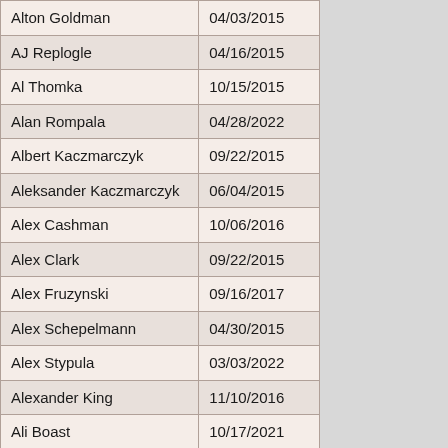| Name | Date |
| --- | --- |
| Alton Goldman | 04/03/2015 |
| AJ Replogle | 04/16/2015 |
| Al Thomka | 10/15/2015 |
| Alan Rompala | 04/28/2022 |
| Albert Kaczmarczyk | 09/22/2015 |
| Aleksander Kaczmarczyk | 06/04/2015 |
| Alex Cashman | 10/06/2016 |
| Alex Clark | 09/22/2015 |
| Alex Fruzynski | 09/16/2017 |
| Alex Schepelmann | 04/30/2015 |
| Alex Stypula | 03/03/2022 |
| Alexander King | 11/10/2016 |
| Ali Boast | 10/17/2021 |
| Allison Thrower | 09/18/2016 |
| Ally Cox | 06/07/2018 |
| Allyson Knights | 06/04/2015 |
| Amanda Sgroi | 10/15/2015 |